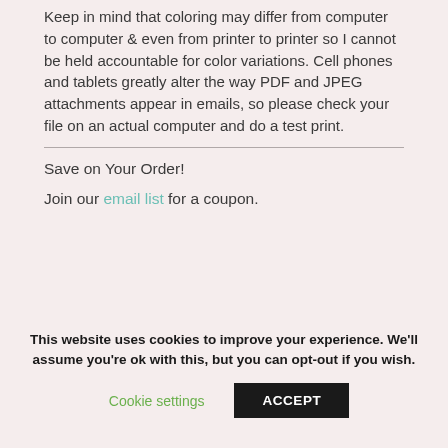Keep in mind that coloring may differ from computer to computer & even from printer to printer so I cannot be held accountable for color variations. Cell phones and tablets greatly alter the way PDF and JPEG attachments appear in emails, so please check your file on an actual computer and do a test print.
Save on Your Order!
Join our email list for a coupon.
This website uses cookies to improve your experience. We'll assume you're ok with this, but you can opt-out if you wish.